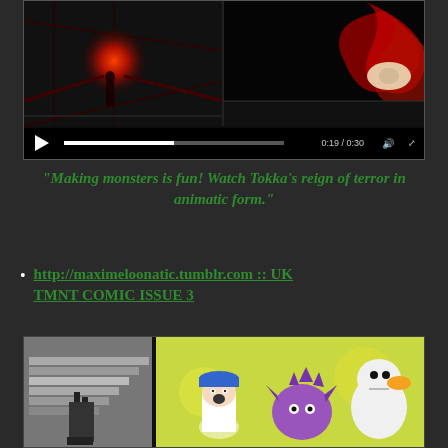[Figure (screenshot): Video player screenshot showing an animatic of Tokka. Left panel shows a dark scene with a red glowing orb and a silhouetted figure. Right panel shows a dark swirling red/black abstract form. Video controls show play button, progress bar, timecode '0:19 / 0:30', volume and fullscreen icons.]
“Making monsters is fun! Watch Tokka’s reign of terror in animatic form.”
http://maximeloonatic.tumblr.com :: UK TMNT COMIC ISSUE 3
[Figure (illustration): Comic book panels showing colorful cartoon characters. Left panel has a figure on stairs in grayscale. Right panel shows a character in a blue cap, a purple spiky creature, and a white duck-like character on a yellow-green background.]